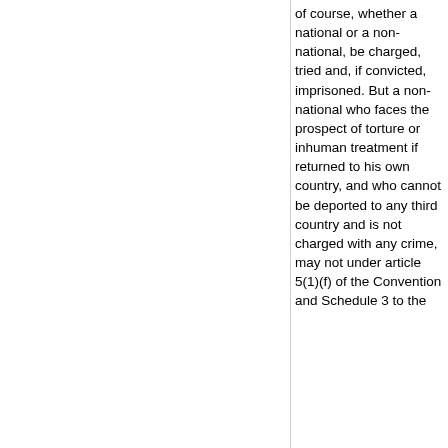of course, whether a national or a non-national, be charged, tried and, if convicted, imprisoned. But a non-national who faces the prospect of torture or inhuman treatment if returned to his own country, and who cannot be deported to any third country and is not charged with any crime, may not under article 5(1)(f) of the Convention and Schedule 3 to the